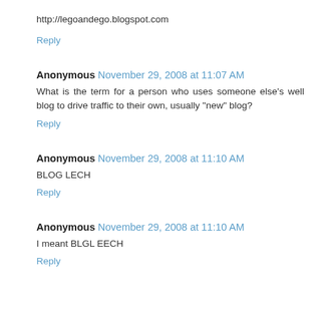http://legoandego.blogspot.com
Reply
Anonymous November 29, 2008 at 11:07 AM
What is the term for a person who uses someone else's well blog to drive traffic to their own, usually "new" blog?
Reply
Anonymous November 29, 2008 at 11:10 AM
BLOG LECH
Reply
Anonymous November 29, 2008 at 11:10 AM
I meant BLGL EECH
Reply